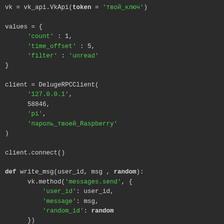[Figure (screenshot): Code editor screenshot showing Python code with syntax highlighting on dark background. Code includes VK API and DelugeRPCClient setup, a write_msg function, and a try/while loop with VK message handling.]